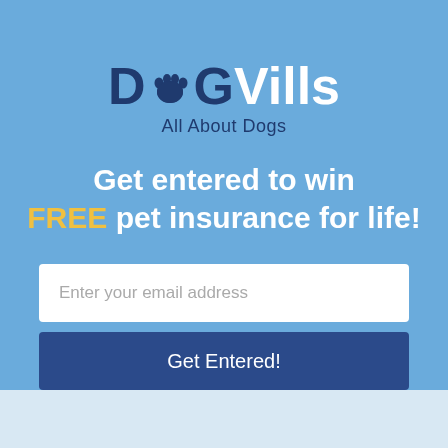[Figure (logo): DogVills logo with paw print icon replacing the letter 'o', with tagline 'All About Dogs']
Get entered to win FREE pet insurance for life!
Enter your email address
Get Entered!